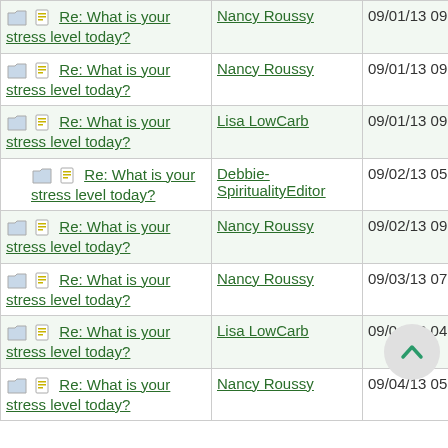| Topic | Author | Date |
| --- | --- | --- |
| Re: What is your stress level today? | Nancy Roussy | 09/01/13 09:09 PM |
| Re: What is your stress level today? | Lisa LowCarb | 09/01/13 09:42 PM |
| Re: What is your stress level today? | Debbie-SpiritualityEditor | 09/02/13 05:37 PM |
| Re: What is your stress level today? | Nancy Roussy | 09/02/13 09:46 PM |
| Re: What is your stress level today? | Nancy Roussy | 09/03/13 07:23 PM |
| Re: What is your stress level today? | Lisa LowCarb | 09/04/13 04:52 PM |
| Re: What is your stress level today? | Nancy Roussy | 09/04/13 05:46 PM |